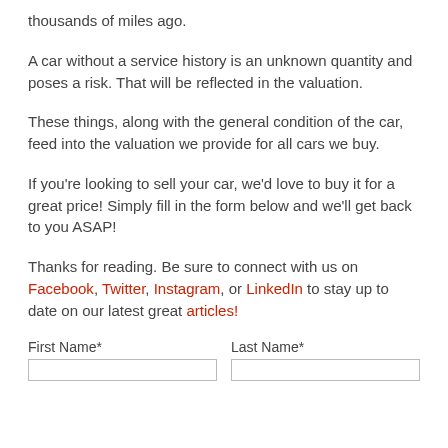thousands of miles ago.
A car without a service history is an unknown quantity and poses a risk. That will be reflected in the valuation.
These things, along with the general condition of the car, feed into the valuation we provide for all cars we buy.
If you’re looking to sell your car, we’d love to buy it for a great price! Simply fill in the form below and we’ll get back to you ASAP!
Thanks for reading. Be sure to connect with us on Facebook, Twitter, Instagram, or LinkedIn to stay up to date on our latest great articles!
| First Name* | Last Name* |
| --- | --- |
|  |  |